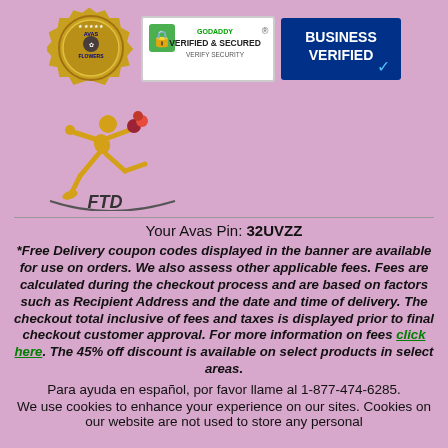[Figure (logo): Row of trust badges: Avas Flowers seal, GoDaddy Verified & Secured badge, Business Verified badge]
[Figure (logo): FTD Mercury Man logo with running figure and FTD text]
Your Avas Pin: 32UVZZ
*Free Delivery coupon codes displayed in the banner are available for use on orders. We also assess other applicable fees. Fees are calculated during the checkout process and are based on factors such as Recipient Address and the date and time of delivery. The checkout total inclusive of fees and taxes is displayed prior to final checkout customer approval. For more information on fees click here. The 45% off discount is available on select products in select areas.
Para ayuda en español, por favor llame al 1-877-474-6285.
We use cookies to enhance your experience on our sites. Cookies on our website are not used to store any personal